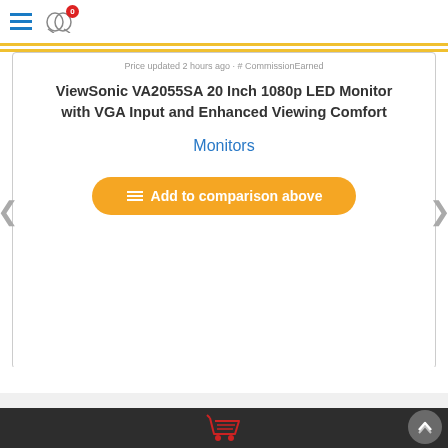Navigation bar with hamburger menu and compare icon with badge 0
Price updated 2 hours ago · # Commission Earned
ViewSonic VA2055SA 20 Inch 1080p LED Monitor with VGA Input and Enhanced Viewing Comfort
Monitors
Add to comparison above
[Figure (logo): FeatureCompare shopping cart logo in red]
FeatureCompare